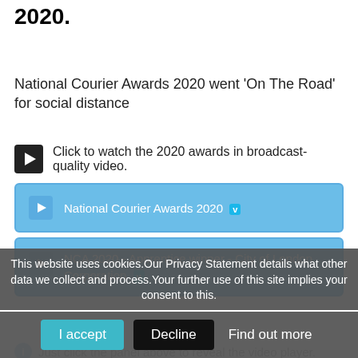2020.
National Courier Awards 2020 went 'On The Road' for social distance
▶ Click to watch the 2020 awards in broadcast-quality video.
[Figure (screenshot): Blue video panel button: National Courier Awards 2020 with Vimeo badge]
[Figure (screenshot): Blue video panel button: NCA 2020 - Apprentice winner - City of London Corporation with Vimeo badge]
This website uses cookies.Our Privacy Statement details what other data we collect and process.Your further use of this site implies your consent to this.
ℹ Just click the panel above to reveal the video player.
I accept  Decline  Find out more